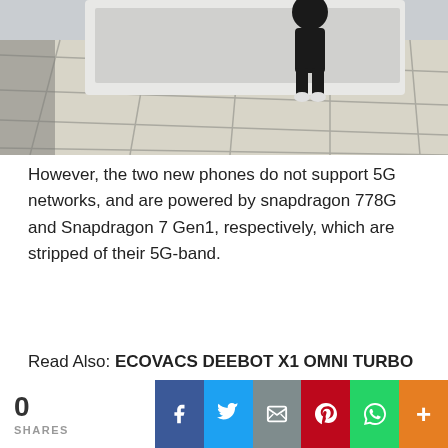[Figure (photo): Photo of a store or showroom with tiled floor, a white display unit with a cutout figure on it, visible in the lower portion of the image.]
However, the two new phones do not support 5G networks, and are powered by snapdragon 778G and Snapdragon 7 Gen1, respectively, which are stripped of their 5G-band.
Read Also: ECOVACS DEEBOT X1 OMNI TURBO Vacuum Cleaner at Just $1229.15
0 SHARES [Facebook] [Twitter] [Email] [Pinterest] [WhatsApp] [More]